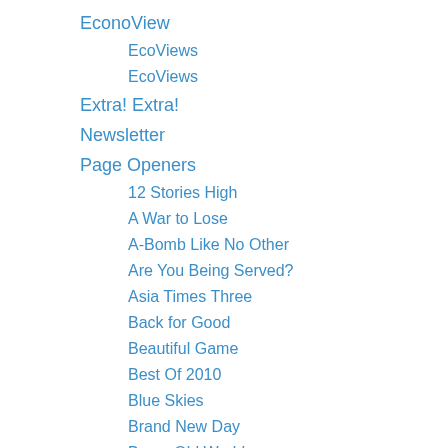EconoView
EcoViews
EcoViews
Extra! Extra!
Newsletter
Page Openers
12 Stories High
A War to Lose
A-Bomb Like No Other
Are You Being Served?
Asia Times Three
Back for Good
Beautiful Game
Best Of 2010
Blue Skies
Brand New Day
Brave Old World
Bubble Nets
Chilean of Mine
Coexisting